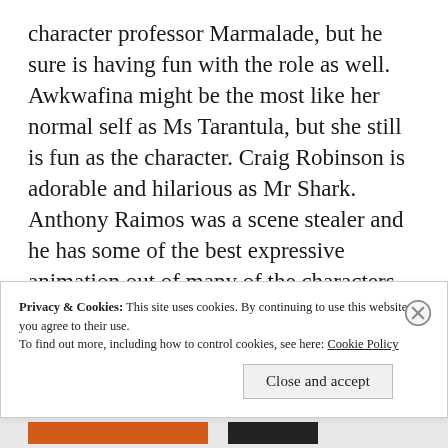character professor Marmalade, but he sure is having fun with the role as well. Awkwafina might be the most like her normal self as Ms Tarantula, but she still is fun as the character. Craig Robinson is adorable and hilarious as Mr Shark. Anthony Raimos was a scene stealer and he has some of the best expressive animation out of many of the characters, and that's saying something because everyone fits their role, and the animation is strong across the board.
Privacy & Cookies: This site uses cookies. By continuing to use this website, you agree to their use. To find out more, including how to control cookies, see here: Cookie Policy
Close and accept